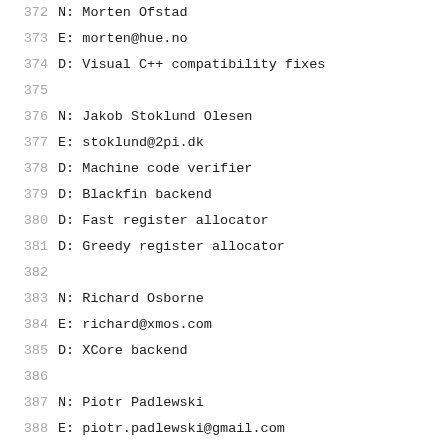372   N: Morten Ofstad
373   E: morten@hue.no
374   D: Visual C++ compatibility fixes
375
376   N: Jakob Stoklund Olesen
377   E: stoklund@2pi.dk
378   D: Machine code verifier
379   D: Blackfin backend
380   D: Fast register allocator
381   D: Greedy register allocator
382
383   N: Richard Osborne
384   E: richard@xmos.com
385   D: XCore backend
386
387   N: Piotr Padlewski
388   E: piotr.padlewski@gmail.com
389   D: !invariant.group metadata and other intrinsic
390
391   N: Devang Patel
392   E: dpatel@apple.com
393   D: ...